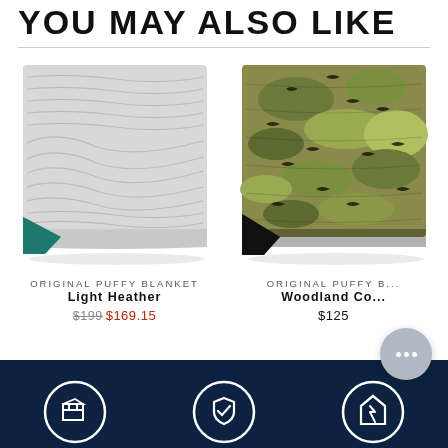YOU MAY ALSO LIKE
[Figure (photo): Gray quilted puffy blanket with teal corner fold, shown from the front]
ORIGINAL PUFFY BLANKET
Light Heather
$199 $169.15
[Figure (photo): Woodland camo patterned quilted puffy blanket with dark corner fold, partially visible on the right side]
ORIGINAL PUFFY B...
Woodland Co...
$125
[Figure (infographic): Dark navy footer bar with three circular white icon badges: shipping box, shield with checkmark, and house with lightning bolt]